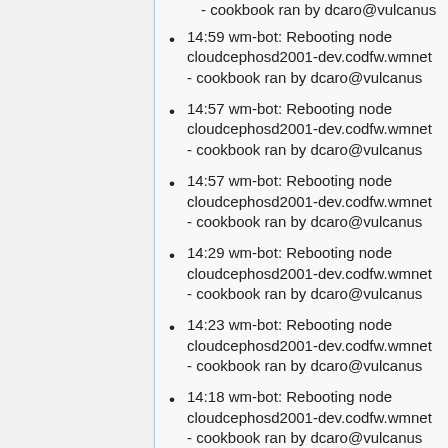- cookbook ran by dcaro@vulcanus
14:59 wm-bot: Rebooting node cloudcephosd2001-dev.codfw.wmnet - cookbook ran by dcaro@vulcanus
14:57 wm-bot: Rebooting node cloudcephosd2001-dev.codfw.wmnet - cookbook ran by dcaro@vulcanus
14:57 wm-bot: Rebooting node cloudcephosd2001-dev.codfw.wmnet - cookbook ran by dcaro@vulcanus
14:29 wm-bot: Rebooting node cloudcephosd2001-dev.codfw.wmnet - cookbook ran by dcaro@vulcanus
14:23 wm-bot: Rebooting node cloudcephosd2001-dev.codfw.wmnet - cookbook ran by dcaro@vulcanus
14:18 wm-bot: Rebooting node cloudcephosd2001-dev.codfw.wmnet - cookbook ran by dcaro@vulcanus
2021-06-07